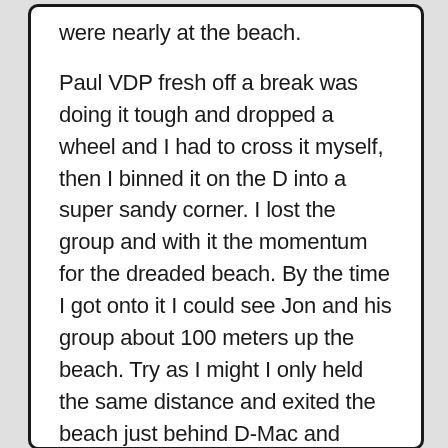were nearly at the beach.

Paul VDP fresh off a break was doing it tough and dropped a wheel and I had to cross it myself, then I binned it on the D into a super sandy corner. I lost the group and with it the momentum for the dreaded beach. By the time I got onto it I could see Jon and his group about 100 meters up the beach. Try as I might I only held the same distance and exited the beach just behind D-Mac and Morgs. We punched it and I chewed as hard on the bars as I could, but, I couldn't close the gap and ended up coming